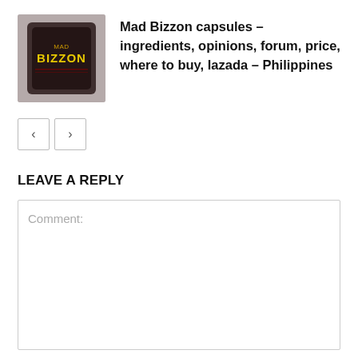[Figure (photo): Thumbnail image of Mad Bizzon capsules product packaging, dark colored bag with yellow text BIZZON on it, slightly faded/blurred appearance]
Mad Bizzon capsules – ingredients, opinions, forum, price, where to buy, lazada – Philippines
< >
LEAVE A REPLY
Comment:
Name:*